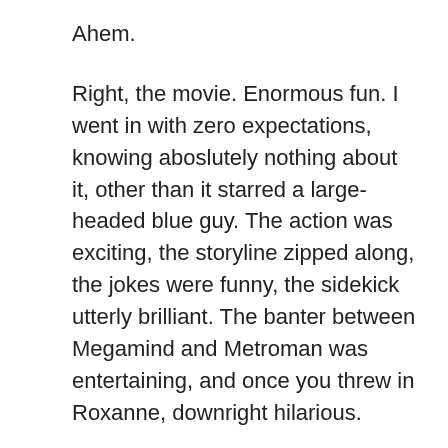Ahem.
Right, the movie. Enormous fun. I went in with zero expectations, knowing aboslutely nothing about it, other than it starred a large-headed blue guy. The action was exciting, the storyline zipped along, the jokes were funny, the sidekick utterly brilliant. The banter between Megamind and Metroman was entertaining, and once you threw in Roxanne, downright hilarious.
I didn't realise that Will Ferrell was doing the voice of Megamind, which is a bonus as he usually completely fails to amuse me. Not this time! Also starring Brad Pitt and Tina Fey (who also rocked as the mother in Ponyo, another brilliant